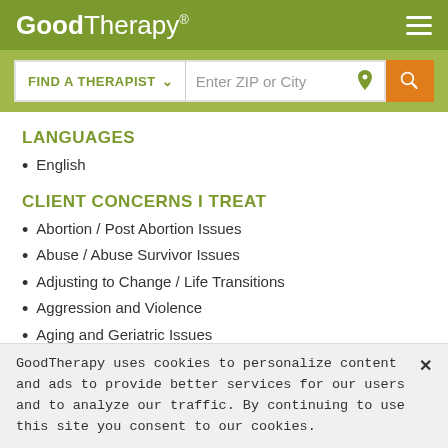GoodTherapy®
LANGUAGES
English
CLIENT CONCERNS I TREAT
Abortion / Post Abortion Issues
Abuse / Abuse Survivor Issues
Adjusting to Change / Life Transitions
Aggression and Violence
Aging and Geriatric Issues
GoodTherapy uses cookies to personalize content and ads to provide better services for our users and to analyze our traffic. By continuing to use this site you consent to our cookies.